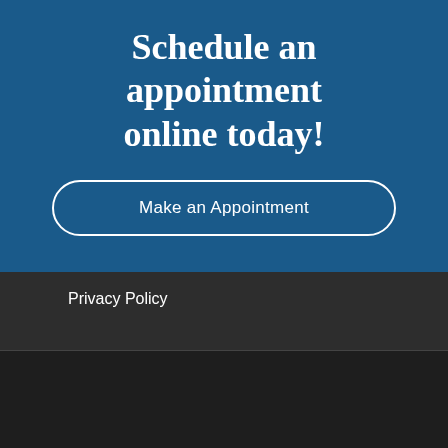Schedule an appointment online today!
Make an Appointment
Privacy Policy
022 McCleary Animal Hospital. Powered by LifeLearn Veterinary Websites